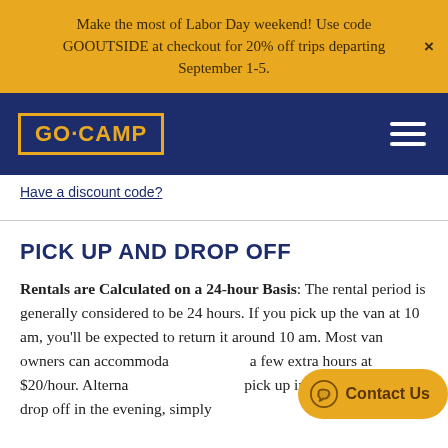Make the most of Labor Day weekend! Use code GOOUTSIDE at checkout for 20% off trips departing September 1-5.
[Figure (logo): GO·CAMP logo in yellow text inside a yellow-bordered box on a dark navy blue navigation bar with hamburger menu icon on the right]
Have a discount code?
PICK UP AND DROP OFF
Rentals are Calculated on a 24-hour Basis: The rental period is generally considered to be 24 hours. If you pick up the van at 10 am, you'll be expected to return it around 10 am. Most van owners can accommodate a few extra hours at $20/hour. Alternatively, pick up in the morning and drop off in the evening, simply